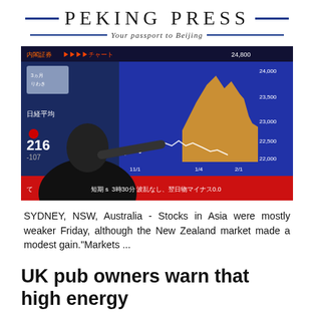PEKING PRESS — Your passport to Beijing
[Figure (photo): Photo of a person pointing at Japanese stock market display screens showing Nikkei index charts with Japanese text, numbers including 216, -107, and market data around 22,000-24,800 range, with dates 11/1, 1/4, 2/1]
SYDNEY, NSW, Australia - Stocks in Asia were mostly weaker Friday, although the New Zealand market made a modest gain."Markets ...
UK pub owners warn that high energy